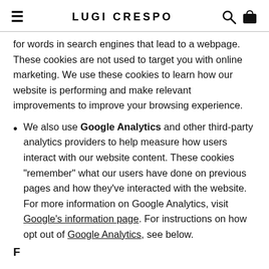LUGI CRESPO
for words in search engines that lead to a webpage. These cookies are not used to target you with online marketing. We use these cookies to learn how our website is performing and make relevant improvements to improve your browsing experience.
We also use Google Analytics and other third-party analytics providers to help measure how users interact with our website content. These cookies “remember” what our users have done on previous pages and how they’ve interacted with the website. For more information on Google Analytics, visit Google’s information page. For instructions on how opt out of Google Analytics, see below.
F…